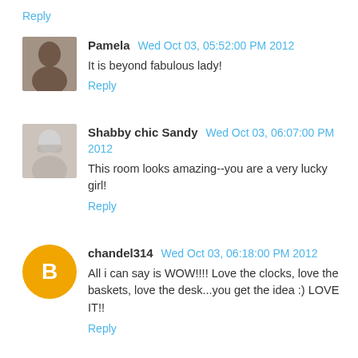Reply
Pamela Wed Oct 03, 05:52:00 PM 2012
It is beyond fabulous lady!
Reply
Shabby chic Sandy Wed Oct 03, 06:07:00 PM 2012
This room looks amazing--you are a very lucky girl!
Reply
chandel314 Wed Oct 03, 06:18:00 PM 2012
All i can say is WOW!!!! Love the clocks, love the baskets, love the desk...you get the idea :) LOVE IT!!
Reply